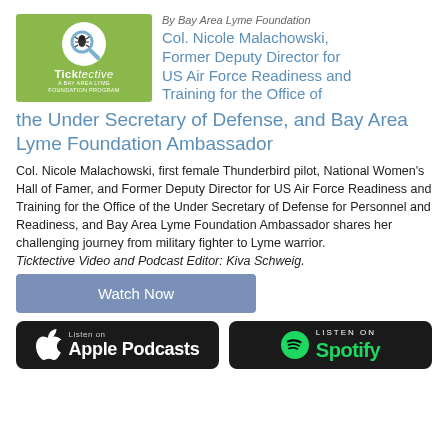[Figure (logo): Ticktective A Bay Area Lyme Foundation Program logo on green background with tick/magnifying glass icon]
By Bay Area Lyme Foundation
Col. Nicole Malachowski, Former Deputy Director for US Air Force Readiness and Training for the Office of the Under Secretary of Defense, and Bay Area Lyme Foundation Ambassador
Col. Nicole Malachowski, first female Thunderbird pilot, National Women's Hall of Famer, and Former Deputy Director for US Air Force Readiness and Training for the Office of the Under Secretary of Defense for Personnel and Readiness, and Bay Area Lyme Foundation Ambassador shares her challenging journey from military fighter to Lyme warrior. Ticktective Video and Podcast Editor: Kiva Schweig.
Watch Now
[Figure (logo): Listen on Apple Podcasts badge]
[Figure (logo): Listen on Spotify badge]